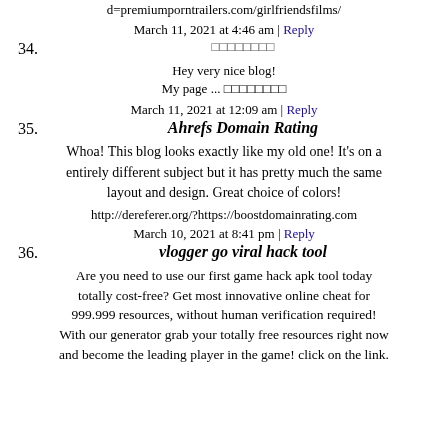d=premiumporntrailers.com/girlfriendsfilms/
March 11, 2021 at 4:46 am | Reply
34.         
Hey very nice blog!
My page ...         
March 11, 2021 at 12:09 am | Reply
35. Ahrefs Domain Rating
Whoa! This blog looks exactly like my old one! It's on a entirely different subject but it has pretty much the same layout and design. Great choice of colors!
http://dereferer.org/?https://boostdomainrating.com
March 10, 2021 at 8:41 pm | Reply
36. vlogger go viral hack tool
Are you need to use our first game hack apk tool today totally cost-free? Get most innovative online cheat for 999.999 resources, without human verification required! With our generator grab your totally free resources right now and become the leading player in the game! click on the link.